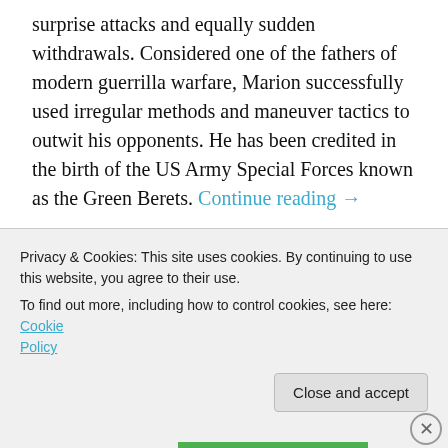surprise attacks and equally sudden withdrawals. Considered one of the fathers of modern guerrilla warfare, Marion successfully used irregular methods and maneuver tactics to outwit his opponents. He has been credited in the birth of the US Army Special Forces known as the Green Berets. Continue reading →
Advertisements
[Figure (other): Advertisement banner with dark background showing 'Teach freely' and 'Make money selling' text in teal color]
Privacy & Cookies: This site uses cookies. By continuing to use this website, you agree to their use.
To find out more, including how to control cookies, see here: Cookie Policy